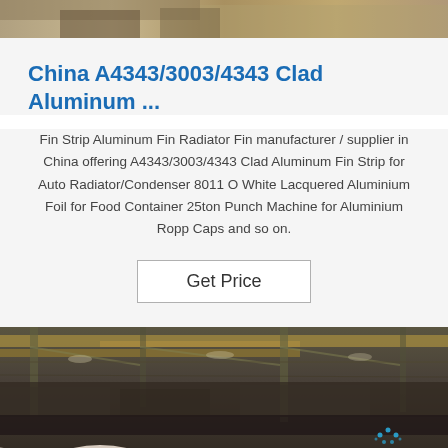[Figure (photo): Partial top image showing industrial/warehouse scene, cropped]
China A4343/3003/4343 Clad Aluminum ...
Fin Strip Aluminum Fin Radiator Fin manufacturer / supplier in China offering A4343/3003/4343 Clad Aluminum Fin Strip for Auto Radiator/Condenser 8011 O White Lacquered Aluminium Foil for Food Container 25ton Punch Machine for Aluminium Ropp Caps and so on.
Get Price
[Figure (photo): Industrial warehouse interior with large aluminum coil rolls on the floor, steel structure ceiling with yellow beams visible, TOP watermark in bottom right]